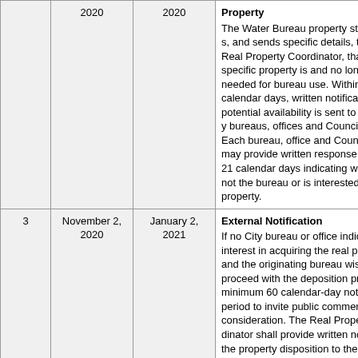| # | Date | Date | Description |
| --- | --- | --- | --- |
|  | 2020 | 2020 | Property
The Water Bureau property staff notifies, and sends specific details, to the Real Property Coordinator, that a specific property is and no longer needed for bureau use. Within seven calendar days, written notification of potential availability is sent to other City bureaus, offices and Council offices. Each bureau, office and Council office may provide written response within 21 calendar days indicating whether or not the bureau or is interested in the property. |
| 3 | November 2, 2020 | January 2, 2021 | External Notification
If no City bureau or office indicates interest in acquiring the real property, and the originating bureau wishes to proceed with the disposition process, a minimum 60 calendar-day notice period to invite public comment for consideration. The Real Property Coordinator shall provide written notice of the proposed disposition to the Neighborhood Coalition, Neighborhood Association, and the Office of Neighborhood Involvement, of the bureau's intent to dispose of the property. At this time, property will be listed on the citywide Bureau of Real Property webpage. The Real Property Coordinator, in conjunction with the originating bureau, will notify PDC, Metro, TriMet, |